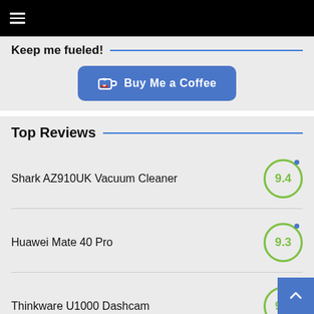[Figure (screenshot): Black top navigation bar with hamburger menu icon]
Keep me fueled!
[Figure (other): Buy Me a Coffee button (blue rounded rectangle with coffee cup icon)]
Top Reviews
Shark AZ910UK Vacuum Cleaner — 9.4
Huawei Mate 40 Pro — 9.3
Thinkware U1000 Dashcam — 9.3